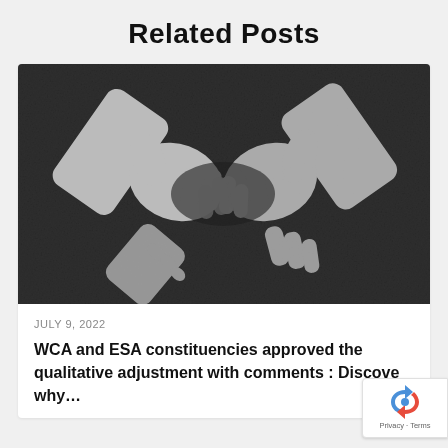Related Posts
[Figure (photo): Chalk drawing of two hands shaking on a dark chalkboard background]
JULY 9, 2022
WCA and ESA constituencies approved the qualitative adjustment with comments : Discover why…